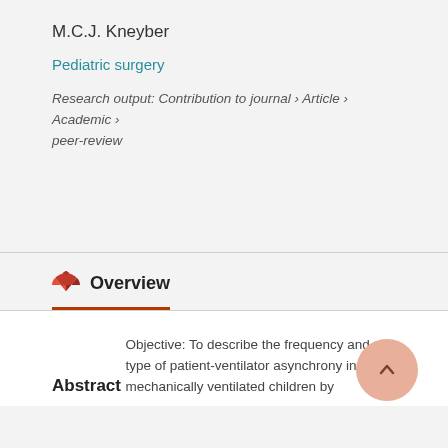M.C.J. Kneyber
Pediatric surgery
Research output: Contribution to journal › Article › Academic › peer-review
Overview
Abstract
Objective: To describe the frequency and type of patient-ventilator asynchrony in mechanically ventilated children by